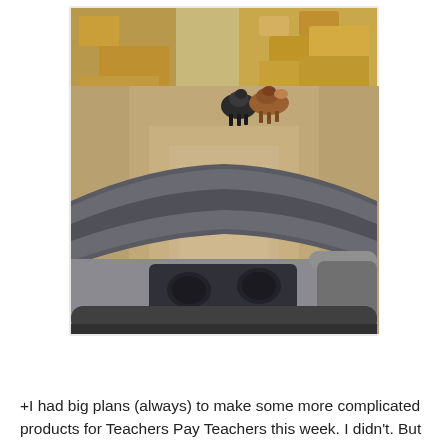[Figure (photo): A first-person perspective view pushing a dark gray baby stroller with cup holders on a dusty dirt trail. In the background, two dogs (one black and white, one brown and white) are walking ahead on the path. The surroundings are dry, arid landscape with golden-brown dry grasses and brush. Bright daytime outdoor lighting.]
+I had big plans (always) to make some more complicated products for Teachers Pay Teachers this week. I didn't. But